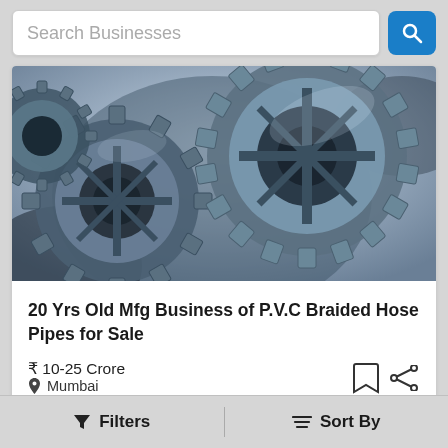Search Businesses
[Figure (photo): Close-up photo of industrial metallic gear wheels/cogs in blue-grey tones]
20 Yrs Old Mfg Business of P.V.C Braided Hose Pipes for Sale
₹ 10-25 Crore
Mumbai
Full Sale
Filters   Sort By